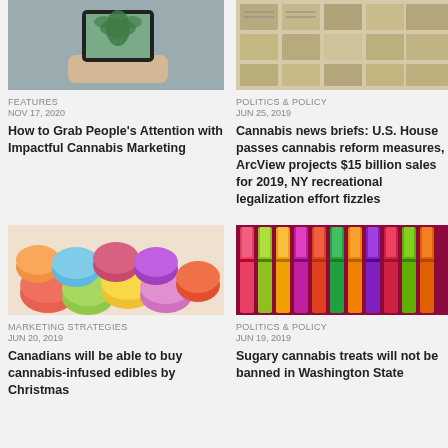[Figure (photo): Hand holding a smartphone photographing a cannabis plant]
FEATURES
NOV 17, 2020
How to Grab People's Attention with Impactful Cannabis Marketing
[Figure (photo): Collage of newspaper clippings about cannabis]
POLITICS & POLICY
JUN 25, 2019
Cannabis news briefs: U.S. House passes cannabis reform measures, ArcView projects $15 billion sales for 2019, NY recreational legalization effort fizzles
[Figure (photo): Colorful French macarons piled together]
MARKETING STRATEGIES
JUN 20, 2019
Canadians will be able to buy cannabis-infused edibles by Christmas
[Figure (photo): Colorful cannabis-themed candy tubes and lipstick-style containers]
POLITICS & POLICY
JUN 19, 2019
Sugary cannabis treats will not be banned in Washington State